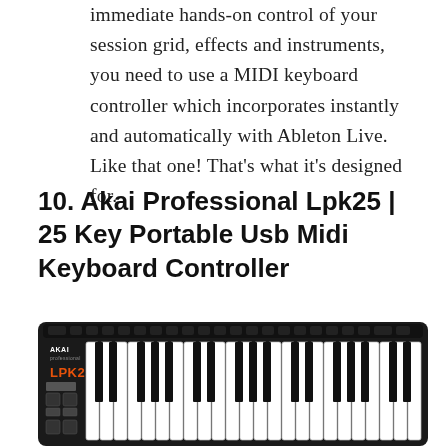immediate hands-on control of your session grid, effects and instruments, you need to use a MIDI keyboard controller which incorporates instantly and automatically with Ableton Live. Like that one! That's what it's designed for.
10. Akai Professional Lpk25 | 25 Key Portable Usb Midi Keyboard Controller
[Figure (photo): Photo of the Akai Professional LPK25 25-key portable USB MIDI keyboard controller, showing a compact black keyboard with white and black piano keys, orange LPK25 branding on the left, and control buttons/pads on the left side panel.]